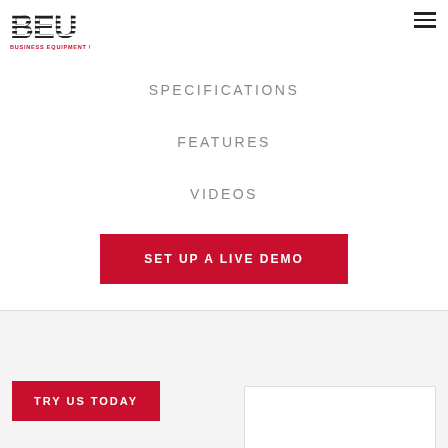[Figure (logo): BEU Business Equipment Unlimited logo with horizontal stripe pattern]
SPECIFICATIONS
FEATURES
VIDEOS
SET UP A LIVE DEMO
TRY US TODAY